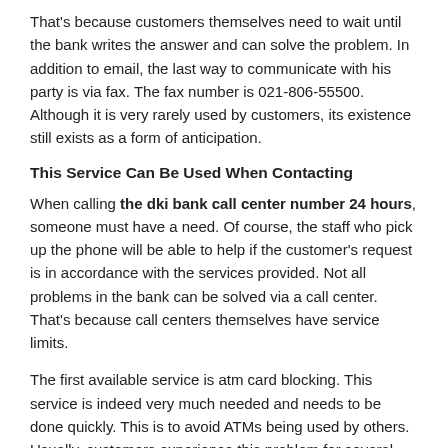That's because customers themselves need to wait until the bank writes the answer and can solve the problem. In addition to email, the last way to communicate with his party is via fax. The fax number is 021-806-55500. Although it is very rarely used by customers, its existence still exists as a form of anticipation.
This Service Can Be Used When Contacting
When calling the dki bank call center number 24 hours, someone must have a need. Of course, the staff who pick up the phone will be able to help if the customer's request is in accordance with the services provided. Not all problems in the bank can be solved via a call center. That's because call centers themselves have service limits.
The first available service is atm card blocking. This service is indeed very much needed and needs to be done quickly. This is to avoid ATMs being used by others. Usually, customers experience this problem for several reasons. The reason is like an ATM is lost, swallowed, until someone steals.